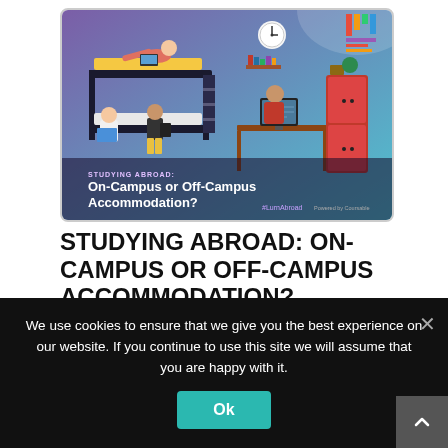[Figure (illustration): Illustrated banner showing students in a dorm room scenario with bunk beds, a desk, and wardrobe. Text overlay reads 'STUDYING ABROAD: On-Campus or Off-Campus Accommodation?' with hashtag #LurnAbroad. Purple and blue gradient background with colorful student figures.]
STUDYING ABROAD: ON-CAMPUS OR OFF-CAMPUS ACCOMMODATION?
⊙ 1 YEAR AGO —BY LA_CE 👁 322 💬 0 COMMENTS
We use cookies to ensure that we give you the best experience on our website. If you continue to use this site we will assume that you are happy with it.